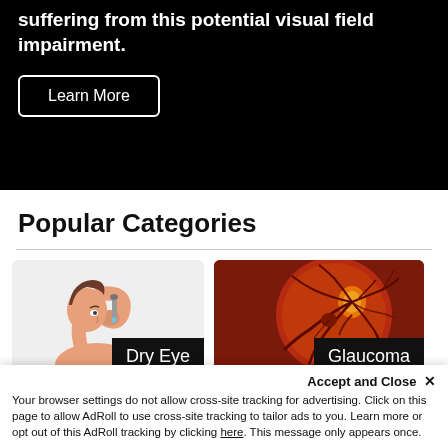suffering from this potential visual field impairment.
Learn More
Popular Categories
[Figure (illustration): Illustration of a person putting eye drops in their eye, labeled Dry Eye]
[Figure (illustration): Medical illustration of a retina/eye fundus image in red tones, labeled Glaucoma]
Accept and Close ✕
Your browser settings do not allow cross-site tracking for advertising. Click on this page to allow AdRoll to use cross-site tracking to tailor ads to you. Learn more or opt out of this AdRoll tracking by clicking here. This message only appears once.